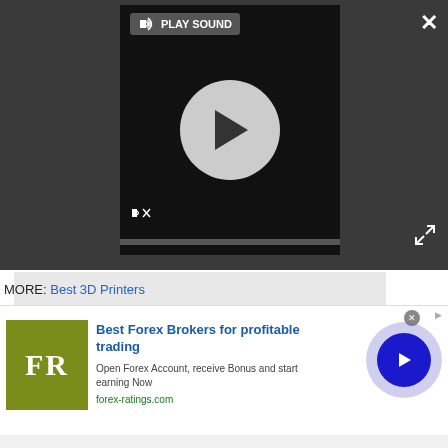[Figure (screenshot): Video player overlay with dark background. Shows 'PLAY SOUND' label with speaker/sound icon at top, a large circular play button in center, and a muted speaker icon below. A close (X) button appears top-right and an expand/fullscreen icon bottom-right.]
[Figure (screenshot): Gray content area placeholder below video player.]
MORE: Best 3D Printers
[Figure (screenshot): Advertisement banner for Best Forex Brokers. Shows FR logo in olive/green square, headline 'Best Forex Brokers for profitable trading', subtext 'Open Forex Account, receive Bonus and start earning Now', url 'forex-ratings.com', circular arrow button on right, and small close X button top right corner.]